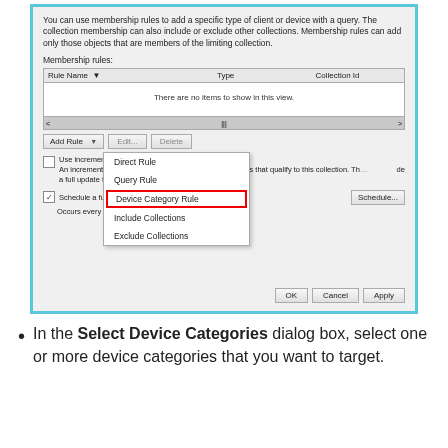[Figure (screenshot): Windows dialog screenshot showing membership rules panel with 'Add Rule' dropdown menu open, highlighting 'Device Category Rule' option with a red rectangle. Shows Rule Name/Type/Collection Id table, incremental updates checkbox, and schedule settings with OK/Cancel/Apply buttons.]
In the Select Device Categories dialog box, select one or more device categories that you want to target.